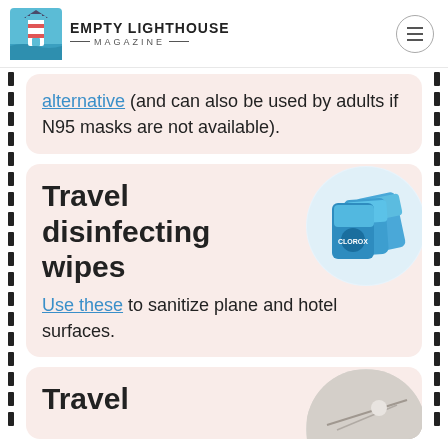EMPTY LIGHTHOUSE MAGAZINE
alternative (and can also be used by adults if N95 masks are not available).
Travel disinfecting wipes
[Figure (photo): Blue Clorox disinfecting wipes packets]
Use these to sanitize plane and hotel surfaces.
Travel